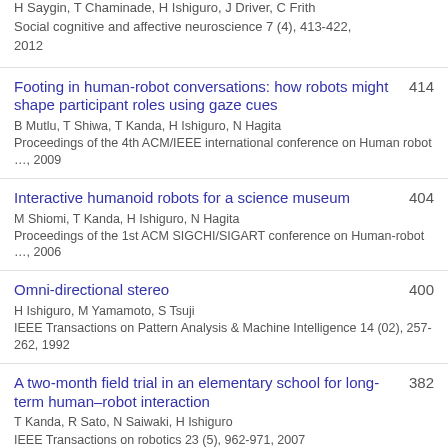H Saygin, T Chaminade, H Ishiguro, J Driver, C Frith
Social cognitive and affective neuroscience 7 (4), 413-422, 2012
Footing in human-robot conversations: how robots might shape participant roles using gaze cues
B Mutlu, T Shiwa, T Kanda, H Ishiguro, N Hagita
Proceedings of the 4th ACM/IEEE international conference on Human robot …, 2009
414
Interactive humanoid robots for a science museum
M Shiomi, T Kanda, H Ishiguro, N Hagita
Proceedings of the 1st ACM SIGCHI/SIGART conference on Human-robot …, 2006
404
Omni-directional stereo
H Ishiguro, M Yamamoto, S Tsuji
IEEE Transactions on Pattern Analysis & Machine Intelligence 14 (02), 257-262, 1992
400
A two-month field trial in an elementary school for long-term human–robot interaction
T Kanda, R Sato, N Saiwaki, H Ishiguro
IEEE Transactions on robotics 23 (5), 962-971, 2007
382